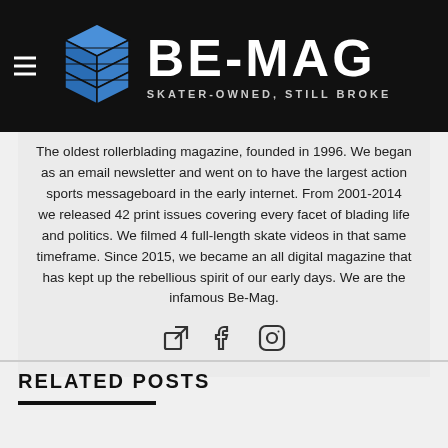[Figure (logo): BE-MAG logo with blue geometric cube icon and text 'BE-MAG' and tagline 'SKATER-OWNED, STILL BROKE' on black background]
The oldest rollerblading magazine, founded in 1996. We began as an email newsletter and went on to have the largest action sports messageboard in the early internet. From 2001-2014 we released 42 print issues covering every facet of blading life and politics. We filmed 4 full-length skate videos in that same timeframe. Since 2015, we became an all digital magazine that has kept up the rebellious spirit of our early days. We are the infamous Be-Mag.
[Figure (infographic): Three social media icons: external link icon, Facebook icon, Instagram icon]
RELATED POSTS